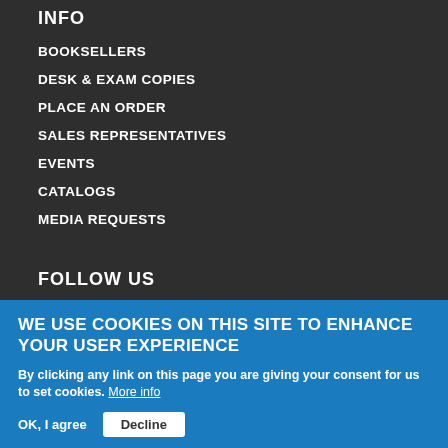INFO
BOOKSELLERS
DESK & EXAM COPIES
PLACE AN ORDER
SALES REPRESENTATIVES
EVENTS
CATALOGS
MEDIA REQUESTS
FOLLOW US
FACEBOOK
TWITTER
YOUTUBE
WE USE COOKIES ON THIS SITE TO ENHANCE YOUR USER EXPERIENCE
By clicking any link on this page you are giving your consent for us to set cookies. More info